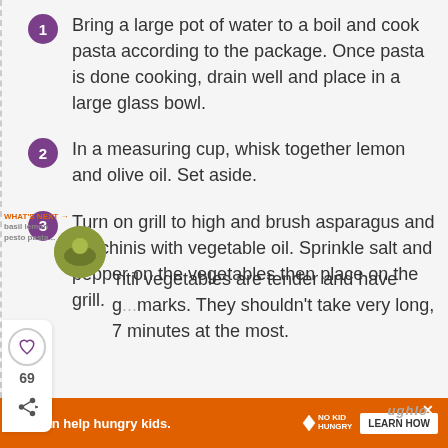1. Bring a large pot of water to a boil and cook pasta according to the package. Once pasta is done cooking, drain well and place in a large glass bowl.
2. In a measuring cup, whisk together lemon and olive oil. Set aside.
3. Turn on grill to high and brush asparagus and zucchinis with vegetable oil. Sprinkle salt and pepper on the vegetables then place on the grill.
...until vegetables are tender and have grill marks. They shouldn't take very long, 7 minutes at the most.
You can help hungry kids. NO KID HUNGRY LEARN HOW